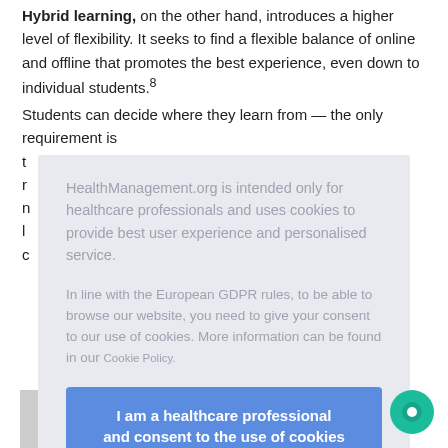Hybrid learning, on the other hand, introduces a higher level of flexibility. It seeks to find a flexible balance of online and offline that promotes the best experience, even down to individual students.8 Students can decide where they learn from — the only requirement is t... r... h... l... ts c...
E... p... COVID-1... is e... ve and fl... o c... offered w... ne d...
HealthManagement.org is intended only for healthcare professionals and uses cookies to provide best user experience and personalised service.
In line with the European GDPR rules, to be able to browse our website, you need to give your consent to our use of cookies. More information can be found in our Cookie Policy.
I am a healthcare professional and consent to the use of cookies
[Figure (screenshot): Gray rectangle at bottom left representing a partially visible image or chart]